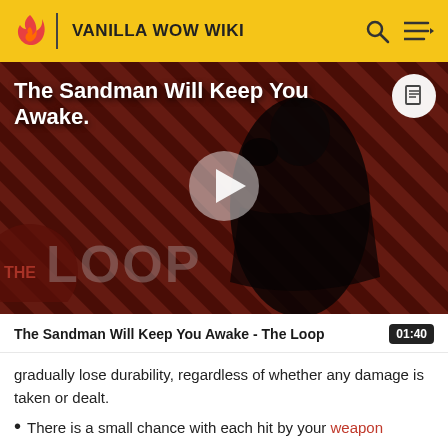VANILLA WOW WIKI
[Figure (screenshot): Video thumbnail for 'The Sandman Will Keep You Awake' featuring a dark-robed figure on a red and black diagonal striped background. THE LOOP watermark appears in lower left. A white play button is centered. A document icon appears top right.]
The Sandman Will Keep You Awake - The Loop   01:40
gradually lose durability, regardless of whether any damage is taken or dealt.
There is a small chance with each hit by your weapon